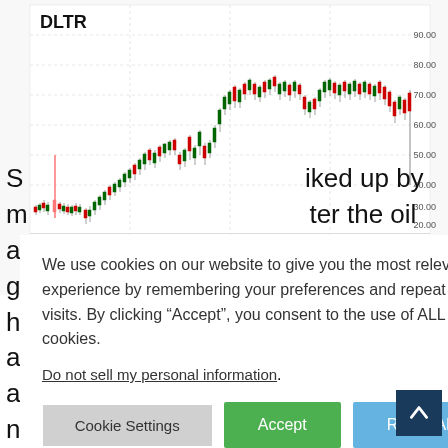[Figure (continuous-plot): DLTR stock price candlestick chart showing price range approximately $53-$90 with volume bars at bottom, x-axis showing May, Jun, Jul, Aug time period, y-axis showing 10.00-90.00 price range and 0.0K-10.0M volume]
We use cookies on our website to give you the most relevant experience by remembering your preferences and repeat visits. By clicking “Accept”, you consent to the use of ALL the cookies.
Do not sell my personal information.
S... iked up by m... ter the oil and g... lease that it has entered into a Line of Credit and an amendment of its senior secured note, effective